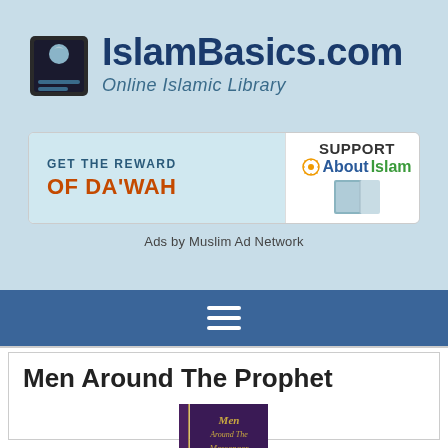[Figure (logo): IslamBasics.com Online Islamic Library logo with mosque icon]
[Figure (screenshot): Advertisement banner: GET THE REWARD OF DA'WAH - SUPPORT AboutIslam, with book image on right]
Ads by Muslim Ad Network
[Figure (other): Navigation hamburger menu icon (three white horizontal lines on blue bar)]
Men Around The Prophet
[Figure (photo): Book cover thumbnail: Men Around The Messenger]